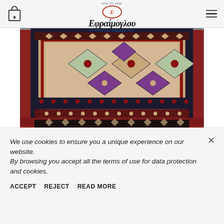Εφραίμογλου
[Figure (photo): Persian/Oriental rug with intricate geometric patterns in red, dark blue, cream, and green colors, with fringe border at bottom]
IN STOCK
ALL CATEGORIES
We use cookies to ensure you a unique experience on our website.
By browsing you accept all the terms of use for data protection and cookies.
ACCEPT   REJECT   READ MORE